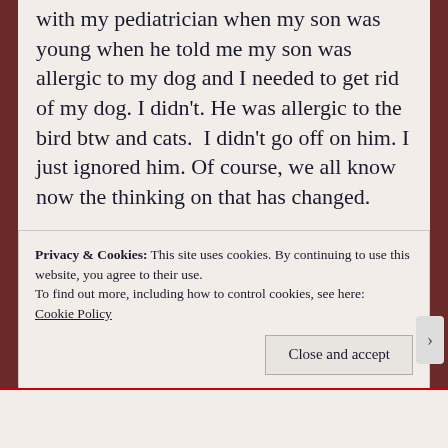with my pediatrician when my son was young when he told me my son was allergic to my dog and I needed to get rid of my dog. I didn't. He was allergic to the bird btw and cats.  I didn't go off on him. I just ignored him. Of course, we all know now the thinking on that has changed.

You have the right to disagree with your doctor and he has the right to disagree with you. I know it frustrating. But the issue here is the “going off”
Privacy & Cookies: This site uses cookies. By continuing to use this website, you agree to their use.
To find out more, including how to control cookies, see here: Cookie Policy
Close and accept